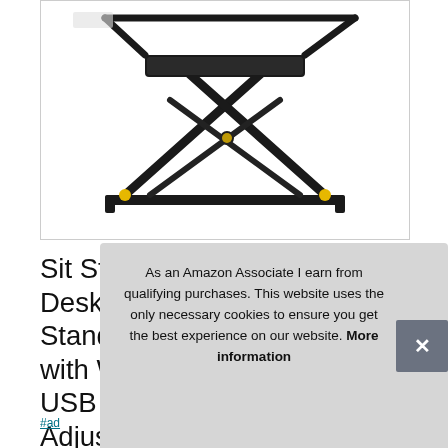[Figure (photo): Black electric standing desk converter with scissor-lift mechanism, shown folded flat from an angled overhead perspective. The device has metal arms forming an X/scissor pattern, yellow accent bolts, and a laptop/monitor tray at the top.]
Sit Stand up Home Office Desk Work, Leband Electric Standing Desk Converter with Wireless Charging and 2 USB Ports, 34" Height Adjustable Desk Converter with Height Memory Co
As an Amazon Associate I earn from qualifying purchases. This website uses the only necessary cookies to ensure you get the best experience on our website. More information
#ad